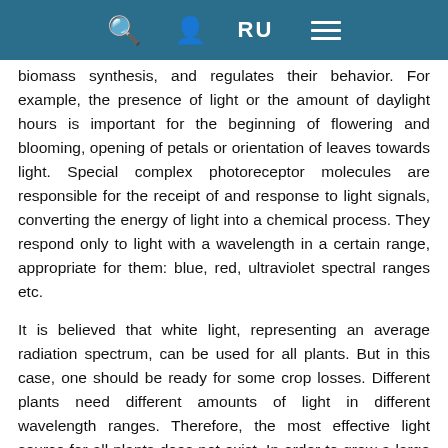RU [navigation icons]
biomass synthesis, and regulates their behavior. For example, the presence of light or the amount of daylight hours is important for the beginning of flowering and blooming, opening of petals or orientation of leaves towards light. Special complex photoreceptor molecules are responsible for the receipt of and response to light signals, converting the energy of light into a chemical process. They respond only to light with a wavelength in a certain range, appropriate for them: blue, red, ultraviolet spectral ranges etc.
It is believed that white light, representing an average radiation spectrum, can be used for all plants. But in this case, one should be ready for some crop losses. Different plants need different amounts of light in different wavelength ranges. Therefore, the most effective light source for all plants does not exist. In order to grow a large crop in minimum time, it is important to choose the correct spectral